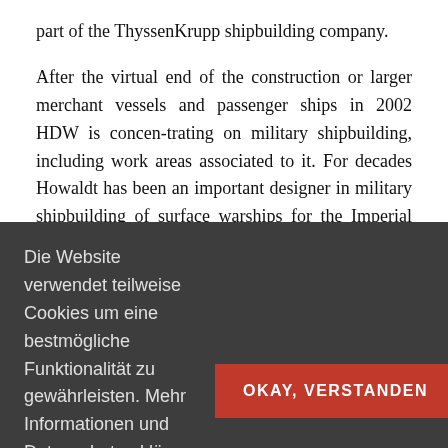part of the ThyssenKrupp shipbuilding company.
After the virtual end of the construction or larger merchant vessels and passenger ships in 2002 HDW is concen-trating on military shipbuilding, including work areas associated to it. For decades Howaldt has been an important designer in military shipbuilding of surface warships for the Imperial German Navy, the Kriegsmarine and the Navy of the Federal Republic of
Die Website verwendet teilweise Cookies um eine bestmögliche Funktionalität zu gewährleisten. Mehr Informationen und Datenschutzerklärung
OKAY, VERSTANDEN